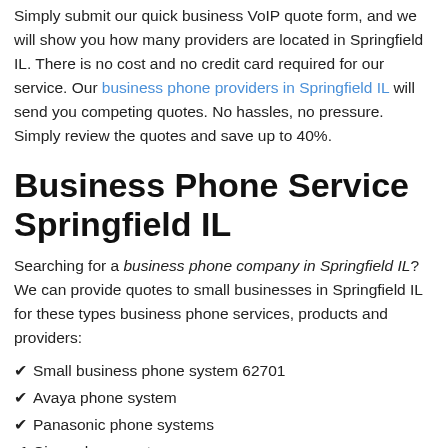Simply submit our quick business VoIP quote form, and we will show you how many providers are located in Springfield IL. There is no cost and no credit card required for our service. Our business phone providers in Springfield IL will send you competing quotes. No hassles, no pressure. Simply review the quotes and save up to 40%.
Business Phone Service Springfield IL
Searching for a business phone company in Springfield IL? We can provide quotes to small businesses in Springfield IL for these types business phone services, products and providers:
Small business phone system 62701
Avaya phone system
Panasonic phone systems
Cisco phone system